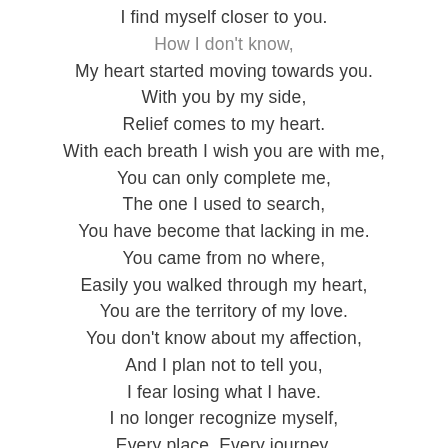I find myself closer to you.
How I don't know,
My heart started moving towards you.
With you by my side,
Relief comes to my heart.
With each breath I wish you are with me,
You can only complete me,
The one I used to search,
You have become that lacking in me.
You came from no where,
Easily you walked through my heart,
You are the territory of my love.
You don't know about my affection,
And I plan not to tell you,
I fear losing what I have.
I no longer recognize myself,
Every place, Every journey,